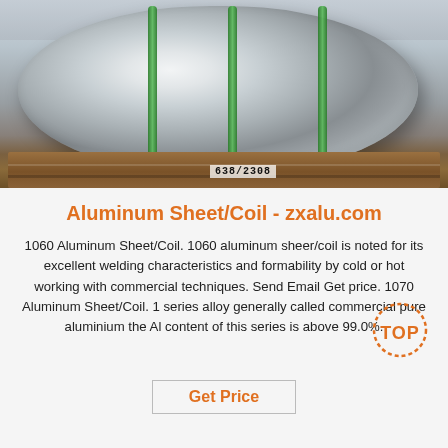[Figure (photo): Large aluminum sheet/coil on a wooden pallet in an industrial warehouse. The coil is wrapped with green strapping bands. A label reading 638/2308 is visible on the pallet.]
Aluminum Sheet/Coil - zxalu.com
1060 Aluminum Sheet/Coil. 1060 aluminum sheer/coil is noted for its excellent welding characteristics and formability by cold or hot working with commercial techniques. Send Email Get price. 1070 Aluminum Sheet/Coil. 1 series alloy generally called commercial pure aluminium the Al content of this series is above 99.0%.
Get Price